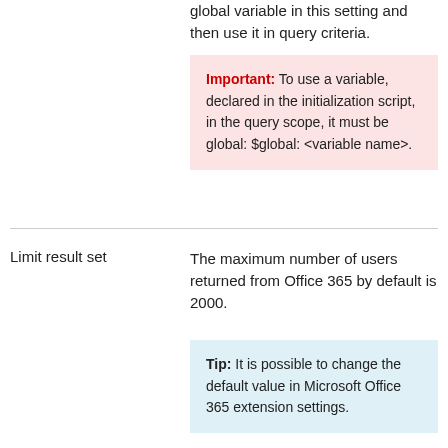global variable in this setting and then use it in query criteria.
Important: To use a variable, declared in the initialization script, in the query scope, it must be global: $global: <variable name>.
Limit result set
The maximum number of users returned from Office 365 by default is 2000.
Tip: It is possible to change the default value in Microsoft Office 365 extension settings.